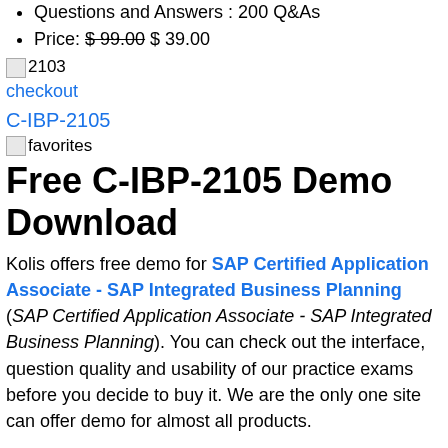Questions and Answers : 200 Q&As
Price: $99.00 $39.00
2103 [image]
checkout [link]
C-IBP-2105 [link]
favorites [image]
Free C-IBP-2105 Demo Download
Kolis offers free demo for SAP Certified Application Associate - SAP Integrated Business Planning (SAP Certified Application Associate - SAP Integrated Business Planning). You can check out the interface, question quality and usability of our practice exams before you decide to buy it. We are the only one site can offer demo for almost all products.
Wir akzeptieren immer Rückmeldungen von Benutzern und nehmen viele ihre Vorschläge an, was zu einer perfekten Schulungsmaterialien zur SAP C-IBP-2105-Prüfung, SAP C-